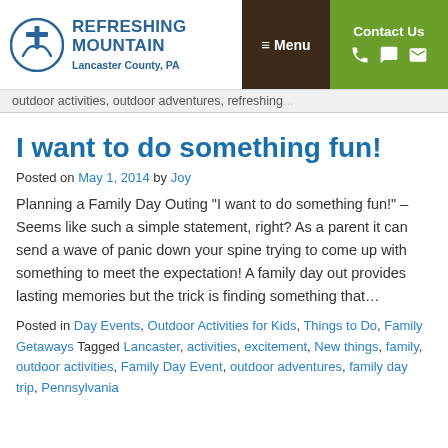Refreshing Mountain — Lancaster County, PA | Menu | Contact Us
outdoor activities, outdoor adventures, refreshing...
I want to do something fun!
Posted on May 1, 2014 by Joy
Planning a Family Day Outing "I want to do something fun!" – Seems like such a simple statement, right? As a parent it can send a wave of panic down your spine trying to come up with something to meet the expectation! A family day out provides lasting memories but the trick is finding something that…
Posted in Day Events, Outdoor Activities for Kids, Things to Do, Family Getaways Tagged Lancaster, activities, excitement, New things, family, outdoor activities, Family Day Event, outdoor adventures, family day trip, Pennsylvania